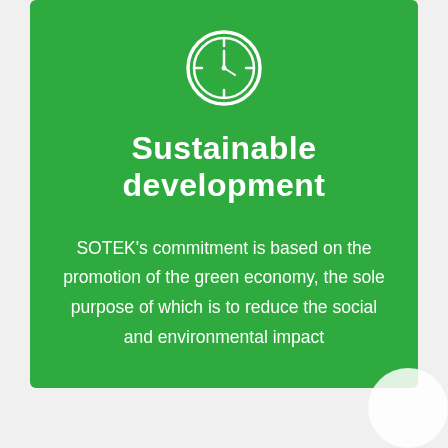[Figure (illustration): White clock icon centered at the top of the green card]
Sustainable development
SOTEK's commitment is based on the promotion of the green economy, the sole purpose of which is to reduce the social and environmental impact